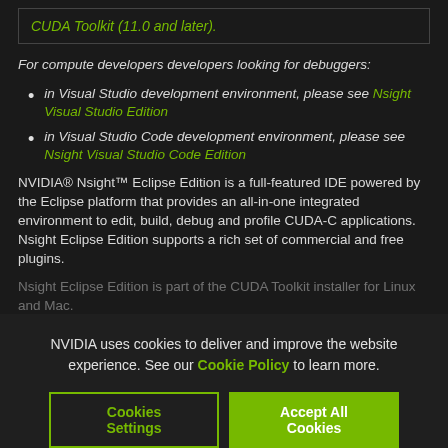CUDA Toolkit (11.0 and later).
For compute developers developers looking for debuggers:
in Visual Studio development environment, please see Nsight Visual Studio Edition
in Visual Studio Code development environment, please see Nsight Visual Studio Code Edition
NVIDIA® Nsight™ Eclipse Edition is a full-featured IDE powered by the Eclipse platform that provides an all-in-one integrated environment to edit, build, debug and profile CUDA-C applications. Nsight Eclipse Edition supports a rich set of commercial and free plugins.
Nsight Eclipse Edition is part of the CUDA Toolkit installer for Linux and Mac.
NVIDIA uses cookies to deliver and improve the website experience. See our Cookie Policy to learn more.
Cookies Settings | Accept All Cookies